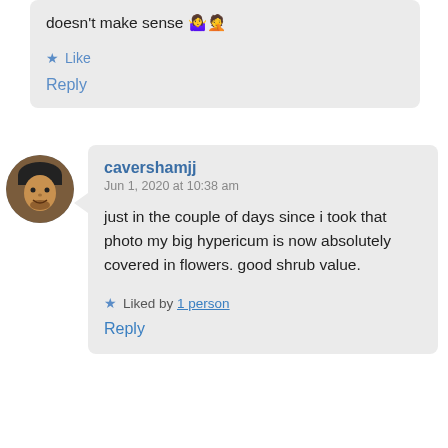doesn't make sense 🤷‍♀️🤦
★ Like
Reply
[Figure (photo): Circular avatar photo of a person wearing a dark cap, smiling]
cavershamjj
Jun 1, 2020 at 10:38 am
just in the couple of days since i took that photo my big hypericum is now absolutely covered in flowers. good shrub value.
★ Liked by 1 person
Reply